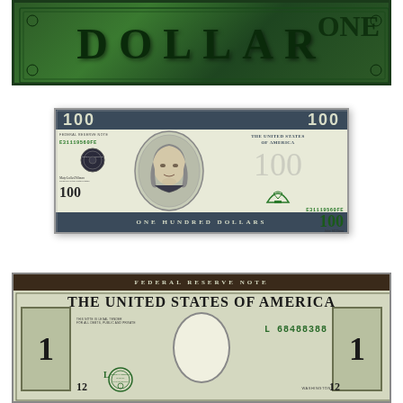[Figure (illustration): Partial view of the back of a US $1 dollar bill, showing green 'DOLLAR' text and ornate design at the top of the page]
[Figure (illustration): US $100 bill (Federal Reserve Note) featuring Benjamin Franklin portrait in center oval, serial number E31119560FE, dark blue-gray border bands with '100' numerals, 'THE UNITED STATES OF AMERICA' text on right side, green '100' denomination on lower right, 'ONE HUNDRED DOLLARS' along bottom band]
[Figure (illustration): Partial view of the front of a US $1 dollar bill showing 'FEDERAL RESERVE NOTE' top band, 'THE UNITED STATES OF AMERICA' title, '1' numerals on left and right, empty oval portrait area, serial number L68488388J in green, '12' plate numbers on left and right bottom, Washington D.C. text]